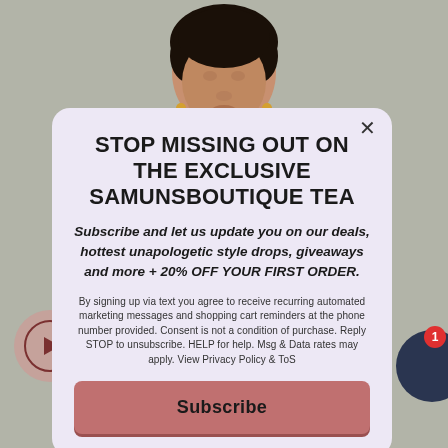[Figure (photo): Background photo of a young Black woman against a light grey wall, wearing a dark top and gold earrings, visible from shoulders up. A pink semi-transparent play button circle appears at the bottom left, and a dark navy circle with a red '1' notification badge appears at the bottom right.]
STOP MISSING OUT ON THE EXCLUSIVE SAMUNSBOUTIQUE TEA
Subscribe and let us update you on our deals, hottest unapologetic style drops, giveaways and more + 20% OFF YOUR FIRST ORDER.
By signing up via text you agree to receive recurring automated marketing messages and shopping cart reminders at the phone number provided. Consent is not a condition of purchase. Reply STOP to unsubscribe. HELP for help. Msg & Data rates may apply. View Privacy Policy & ToS
Subscribe